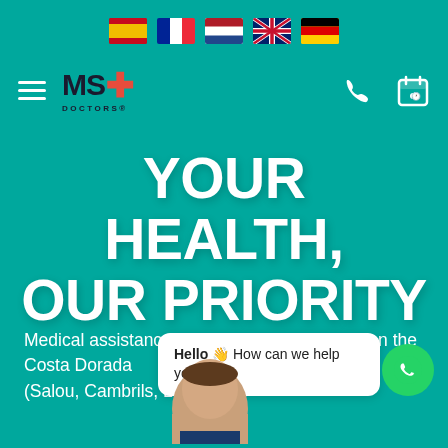[Figure (screenshot): MS Doctors website screenshot with teal background, language flag icons, navigation bar with logo, phone and calendar icons, large white bold heading 'YOUR HEALTH, OUR PRIORITY', subtitle text about medical assistance, WhatsApp chat widget, and partial doctor image]
YOUR HEALTH, OUR PRIORITY
Medical assistance for international patients on the Costa Dorada (Salou, Cambrils, La Pineda)
Hello 👋 How can we help you?